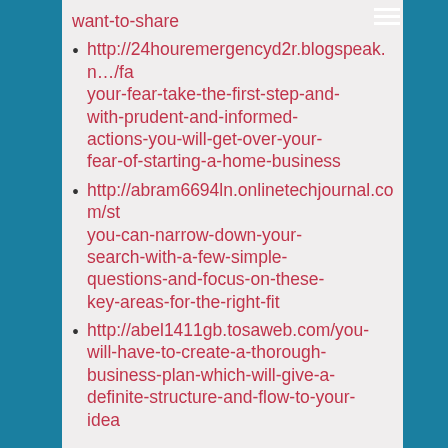want-to-share
http://24houremergencyd2r.blogspeak.n…/fa your-fear-take-the-first-step-and-with-prudent-and-informed-actions-you-will-get-over-your-fear-of-starting-a-home-business
http://abram6694ln.onlinetechjournal.com/st… you-can-narrow-down-your-search-with-a-few-simple-questions-and-focus-on-these-key-areas-for-the-right-fit
http://abel1411gb.tosaweb.com/you-will-have-to-create-a-thorough-business-plan-which-will-give-a-definite-structure-and-flow-to-your-idea